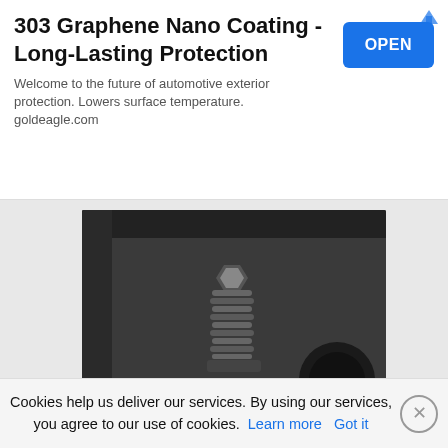[Figure (infographic): Advertisement banner for '303 Graphene Nano Coating - Long-Lasting Protection' with an OPEN button and ad icon in top right corner. Subtitle: 'Welcome to the future of automotive exterior protection. Lowers surface temperature. goldeagle.com']
[Figure (photo): Photograph of a black automotive plastic housing/box containing a coil spring and cylindrical component, viewed from below. Beige/wood surface visible at bottom.]
[Figure (photo): Photograph of automotive wiring/cables and black components viewed from below a vehicle, with red body panels visible in the background.]
Cookies help us deliver our services. By using our services, you agree to our use of cookies. Learn more   Got it